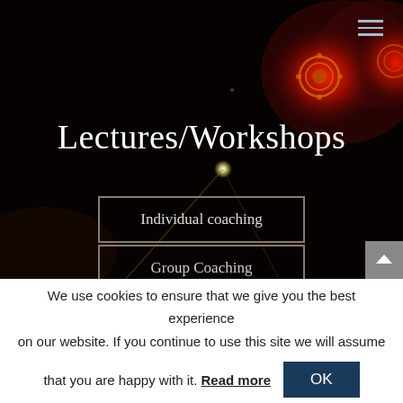[Figure (photo): Dark stage background with red and white spotlights on a black background, used as hero image for Lectures/Workshops page]
Lectures/Workshops
Individual coaching
Group Coaching
We use cookies to ensure that we give you the best experience on our website. If you continue to use this site we will assume that you are happy with it. Read more
OK